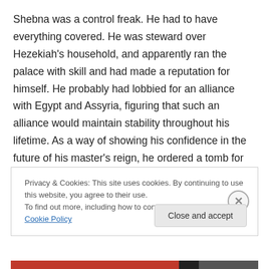Shebna was a control freak. He had to have everything covered. He was steward over Hezekiah's household, and apparently ran the palace with skill and had made a reputation for himself. He probably had lobbied for an alliance with Egypt and Assyria, figuring that such an alliance would maintain stability throughout his lifetime. As a way of showing his confidence in the future of his master's reign, he ordered a tomb for himself, expecting to die with honor at a good old age in Jerusalem. The LORD was watching. He sent word by Isaiah the prophet that
Privacy & Cookies: This site uses cookies. By continuing to use this website, you agree to their use. To find out more, including how to control cookies, see here: Cookie Policy